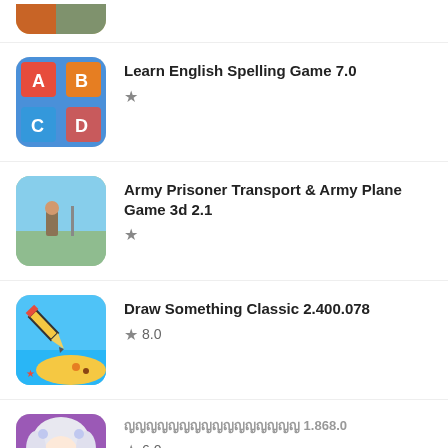[Figure (screenshot): Partial app icon at top of list]
[Figure (screenshot): Learn English Spelling Game 7.0 app icon - colorful block letters]
Learn English Spelling Game 7.0 ★
[Figure (screenshot): Army Prisoner Transport & Army Plane Game 3d 2.1 app icon - 3D military scene]
Army Prisoner Transport & Army Plane Game 3d 2.1 ★
[Figure (screenshot): Draw Something Classic 2.400.078 app icon - pencil drawing on beach]
Draw Something Classic 2.400.078 ★ 8.0
[Figure (screenshot): Anime girl with white hair app icon]
ญญญญญญญญญญญญญญญญ 1.868.0 ★ 6.0